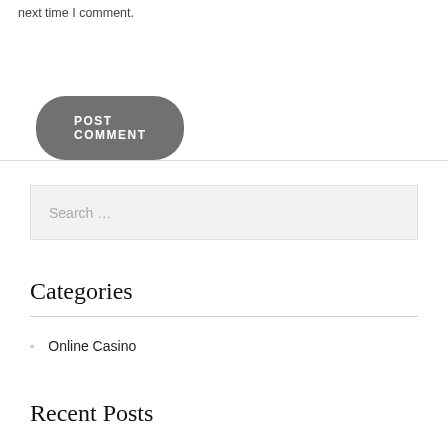next time I comment.
POST COMMENT
Search …
Categories
Online Casino
Recent Posts